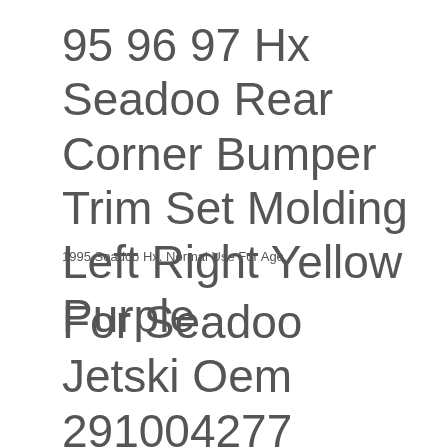95 96 97 Hx Seadoo Rear Corner Bumper Trim Set Molding Left Right Yellow Purple
1995 Seadoo Hx. Normal Use For Age.
For Seadoo Jetski Oem 291004277 291004278 291004279 Front Bumper Corner Bumper